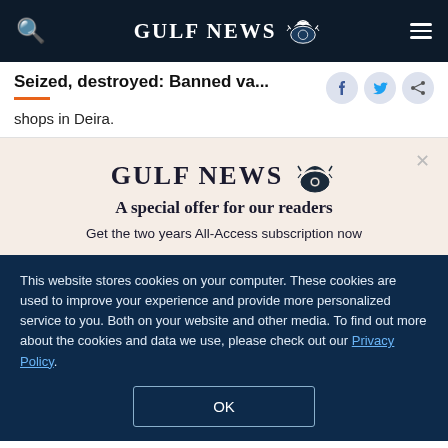GULF NEWS
Seized, destroyed: Banned va...
shops in Deira.
[Figure (logo): Gulf News logo with eagle emblem on pink/beige subscription popup]
A special offer for our readers
Get the two years All-Access subscription now
This website stores cookies on your computer. These cookies are used to improve your experience and provide more personalized service to you. Both on your website and other media. To find out more about the cookies and data we use, please check out our Privacy Policy.